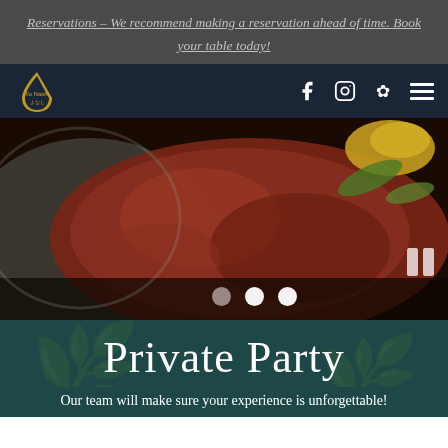Reservations – We recommend making a reservation ahead of time. Book your table today!
[Figure (screenshot): Restaurant website navigation bar with logo (Yo Nashi), Facebook, Instagram, Yelp icons, and hamburger menu]
[Figure (photo): Close-up food photo of raw tuna/sashimi with yellow pepper and green herb garnish on a ceramic plate]
Private Party
Our team will make sure your experience is unforgettable!